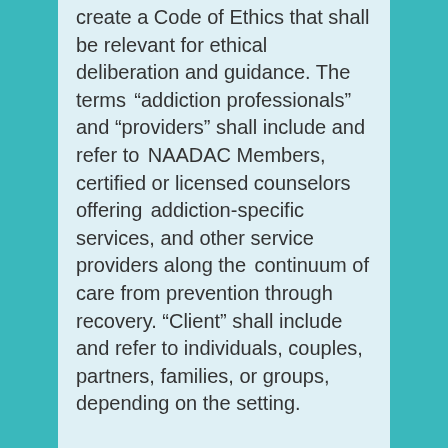create a Code of Ethics that shall be relevant for ethical deliberation and guidance. The terms “addiction professionals” and “providers” shall include and refer to NAADAC Members, certified or licensed counselors offering addiction-specific services, and other service providers along the continuum of care from prevention through recovery. “Client” shall include and refer to individuals, couples, partners, families, or groups, depending on the setting.
The NAADAC Code of Ethics was written to reflect the ideals and